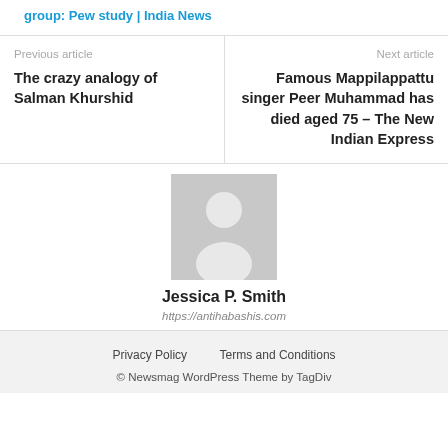group: Pew study | India News
Previous article
The crazy analogy of Salman Khurshid
Next article
Famous Mappilappattu singer Peer Muhammad has died aged 75 – The New Indian Express
[Figure (illustration): Author avatar placeholder – grey silhouette of a person on grey background]
Jessica P. Smith
https://antihabashis.com
Privacy Policy     Terms and Conditions
© Newsmag WordPress Theme by TagDiv